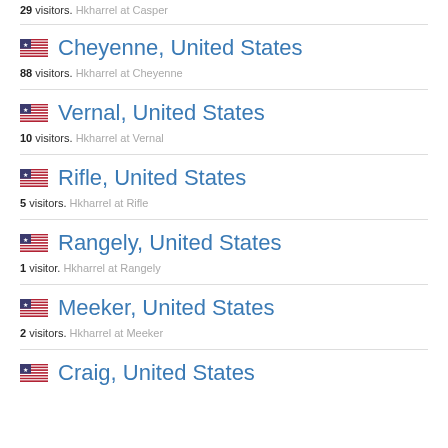29 visitors. Hkharrel at Casper
Cheyenne, United States — 88 visitors. Hkharrel at Cheyenne
Vernal, United States — 10 visitors. Hkharrel at Vernal
Rifle, United States — 5 visitors. Hkharrel at Rifle
Rangely, United States — 1 visitor. Hkharrel at Rangely
Meeker, United States — 2 visitors. Hkharrel at Meeker
Craig, United States